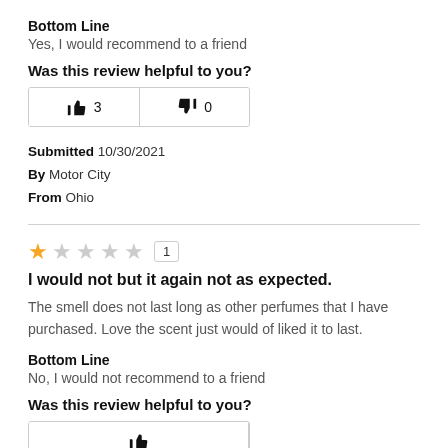Bottom Line
Yes, I would recommend to a friend
Was this review helpful to you?
[Figure (infographic): Thumbs up button with count 3 and thumbs down button with count 0]
Submitted 10/30/2021
By Motor City
From Ohio
[Figure (infographic): 1-star rating (1 out of 5 stars) with rating box showing 1]
I would not but it again not as expected.
The smell does not last long as other perfumes that I have purchased. Love the scent just would of liked it to last.
Bottom Line
No, I would not recommend to a friend
Was this review helpful to you?